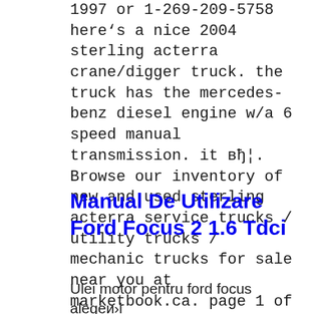1997 or 1-269-209-5758 here's a nice 2004 sterling acterra crane/digger truck. the truck has the mercedes-benz diesel engine w/a 6 speed manual transmission. it вђ¦. Browse our inventory of new and used sterling acterra service trucks / utility trucks / mechanic trucks for sale near you at marketbook.ca. page 1 of 2…. 2021-05-19
Manual De Utilizare Ford Focus 2 1.6 Tdci
Ulei motor pentru ford focus alegeи›i